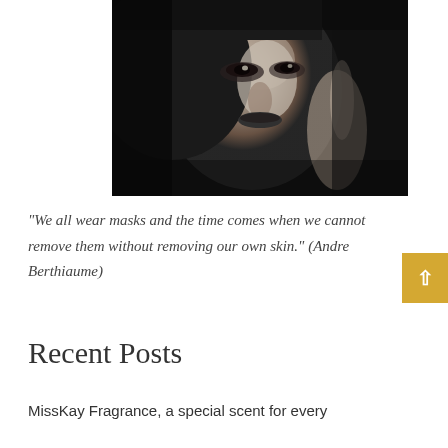[Figure (photo): Black and white close-up portrait of a woman with dark hair and dark lipstick, hand near her face, dramatic lighting]
“We all wear masks and the time comes when we cannot remove them without removing our own skin.” (Andre Berthiaume)
Recent Posts
MissKay Fragrance, a special scent for every